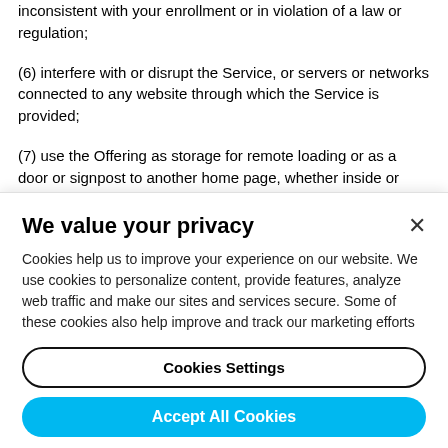inconsistent with your enrollment or in violation of a law or regulation;
(6) interfere with or disrupt the Service, or servers or networks connected to any website through which the Service is provided;
(7) use the Offering as storage for remote loading or as a door or signpost to another home page, whether inside or beyond the site through which the Services are
We value your privacy
Cookies help us to improve your experience on our website. We use cookies to personalize content, provide features, analyze web traffic and make our sites and services secure. Some of these cookies also help improve and track our marketing efforts
Cookies Settings
Accept All Cookies